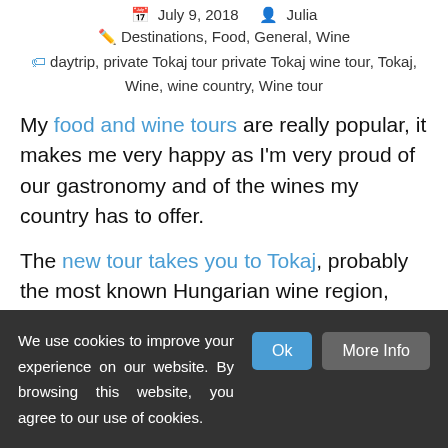July 9, 2018   Julia
Destinations, Food, General, Wine
daytrip, private Tokaj tour private Tokaj wine tour, Tokaj, Wine, wine country, Wine tour
My food and wine tours are really popular, it makes me very happy as I'm very proud of our gastronomy and of the wines my country has to offer.
The new tour takes you to Tokaj, probably the most known Hungarian wine region, that's where Tokaji Aszu, the most famous Hungarian sweet white wine
We use cookies to improve your experience on our website. By browsing this website, you agree to our use of cookies.
Ok
More Info